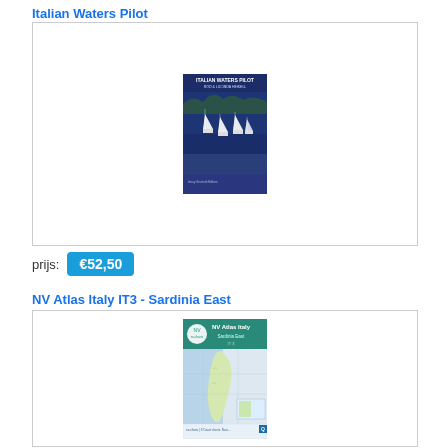Italian Waters Pilot
[Figure (photo): Book cover of Italian Waters Pilot showing sailboats moored in a blue bay]
prijs: €52,50
NV Atlas Italy IT3 - Sardinia East
[Figure (photo): Cover of NV Atlas Italy - Sardinia East IT3, showing a nautical chart of Sardinia's east coast]